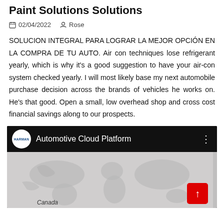Paint Solutions Solutions
02/04/2022  Rose
SOLUCION INTEGRAL PARA LOGRAR LA MEJOR OPCIÓN EN LA COMPRA DE TU AUTO. Air con techniques lose refrigerant yearly, which is why it's a good suggestion to have your air-con system checked yearly. I will most likely base my next automobile purchase decision across the brands of vehicles he works on. He's that good. Open a small, low overhead shop and cross cost financial savings along to our prospects.
[Figure (screenshot): YouTube-style video embed showing 'Automotive Cloud Platform' with Harman logo and a world map thumbnail with Canada label visible. A red scroll-to-top button is in the bottom right.]